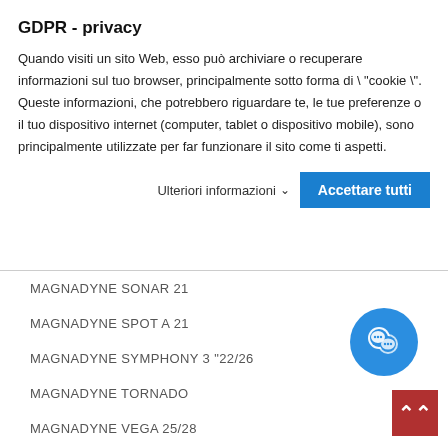GDPR - privacy
Quando visiti un sito Web, esso può archiviare o recuperare informazioni sul tuo browser, principalmente sotto forma di \ "cookie \". Queste informazioni, che potrebbero riguardare te, le tue preferenze o il tuo dispositivo internet (computer, tablet o dispositivo mobile), sono principalmente utilizzate per far funzionare il sito come ti aspetti.
Ulteriori informazioni
Accettare tutti
MAGNADYNE SONAR 21
MAGNADYNE SPOT A 21
MAGNADYNE SYMPHONY 3 "22/26
MAGNADYNE TORNADO
MAGNADYNE VEGA 25/28
GBC TVC 2900
GELOSO G 20499
GELOSO G 22499